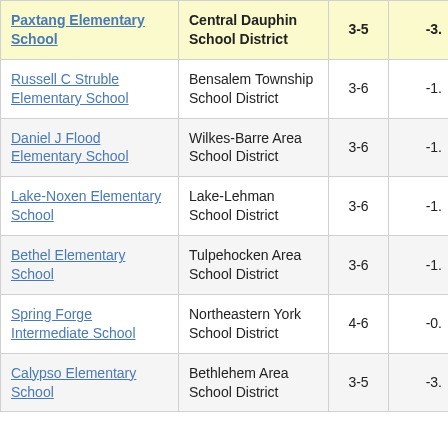| School | District | Grades | Score |
| --- | --- | --- | --- |
| Paxtang Elementary School | Central Dauphin School District | 3-5 | -3. |
| Russell C Struble Elementary School | Bensalem Township School District | 3-6 | -1. |
| Daniel J Flood Elementary School | Wilkes-Barre Area School District | 3-6 | -1. |
| Lake-Noxen Elementary School | Lake-Lehman School District | 3-6 | -1. |
| Bethel Elementary School | Tulpehocken Area School District | 3-6 | -1. |
| Spring Forge Intermediate School | Northeastern York School District | 4-6 | -0. |
| Calypso Elementary School | Bethlehem Area School District | 3-5 | -3. |